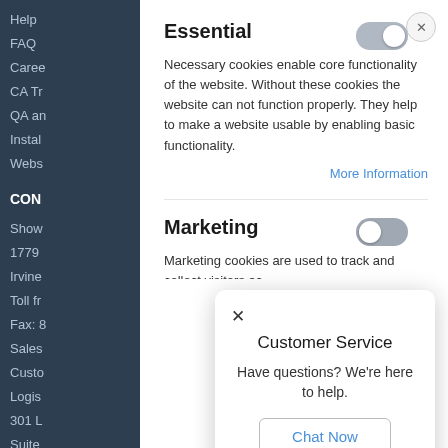Help
FAQ
Caree...
CA Tr...
QA an...
Instal...
Webs...
CON...
Show...
1779...
Irvine...
Toll fr...
Fax: 8...
Sales...
Custo...
Logis...
301 L...
Suite ...
Lewis...
Essential
Necessary cookies enable core functionality of the website. Without these cookies the website can not function properly. They help to make a website usable by enabling basic functionality.
More Information
Marketing
Marketing cookies are used to track and collect visitors ac...
Customer Service
Have questions? We're here to help.
Chat Now